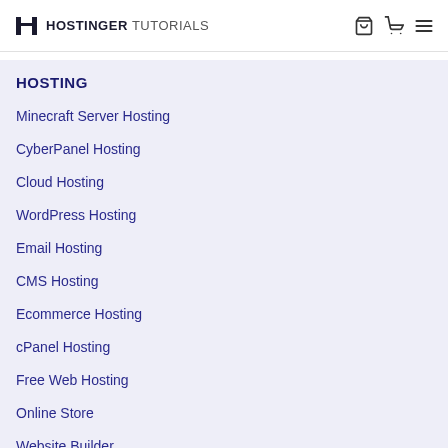HOSTINGER TUTORIALS
HOSTING
Minecraft Server Hosting
CyberPanel Hosting
Cloud Hosting
WordPress Hosting
Email Hosting
CMS Hosting
Ecommerce Hosting
cPanel Hosting
Free Web Hosting
Online Store
Website Builder
Buy Hosting